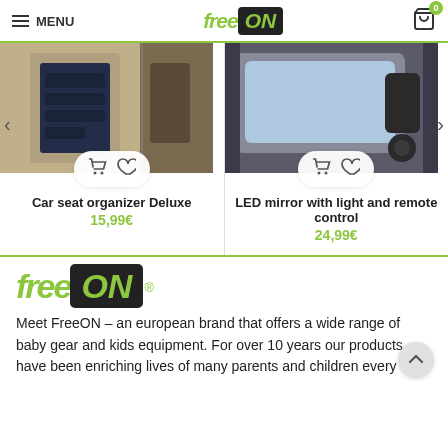MENU | FreeON | Cart 0
[Figure (photo): Car seat organizer Deluxe product image - dark navy organizer hanging on car seat]
Car seat organizer Deluxe
15,99€
[Figure (photo): LED mirror with light and remote control product image - black car mirror with blue tinted glass]
LED mirror with light and remote control
24,99€
[Figure (logo): FreeON brand logo - large version with green italic text and black ON box with registered trademark symbol]
Meet FreeON – an european brand that offers a wide range of baby gear and kids equipment. For over 10 years our products have been enriching lives of many parents and children every day.